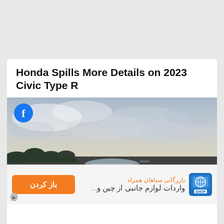Honda Spills More Details on 2023 Civic Type R
[Figure (photo): A silver Honda Civic Type R driving on a road with a dramatic cloudy sky in the background. A Facebook share button is overlaid in the top-left corner of the image.]
[Figure (infographic): Advertisement banner in Persian/Farsi showing an orange button with text 'باز کردن' (Open), Persian text 'بازرگانی سیاهان همراه' and 'واردات لوازم جانبی از چین و...' with a logo on the right side.]